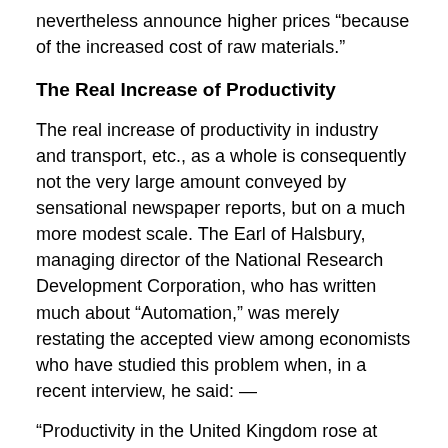nevertheless announce higher prices “because of the increased cost of raw materials.”
The Real Increase of Productivity
The real increase of productivity in industry and transport, etc., as a whole is consequently not the very large amount conveyed by sensational newspaper reports, but on a much more modest scale. The Earl of Halsbury, managing director of the National Research Development Corporation, who has written much about “Automation,” was merely restating the accepted view among economists who have studied this problem when, in a recent interview, he said: —
“Productivity in the United Kingdom rose at one and a half per cent, per annum in the United Kingdom for the first forty years of this century. It’s now rising at three per cent per annum, double the old rate. . .” (Everybody’s, 1[...]